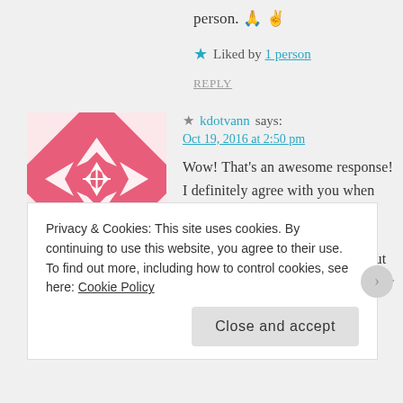person. 🙏 ✌️
★ Liked by 1 person
REPLY
[Figure (illustration): Pink and white decorative geometric avatar icon with star/cross pattern]
★ kdotvann says: Oct 19, 2016 at 2:50 pm Wow! That's an awesome response! I definitely agree with you when you say that we are initially programmed to believe that the love of our life will be perfect, but it is our job as we get older & wiser
Privacy & Cookies: This site uses cookies. By continuing to use this website, you agree to their use. To find out more, including how to control cookies, see here: Cookie Policy
Close and accept